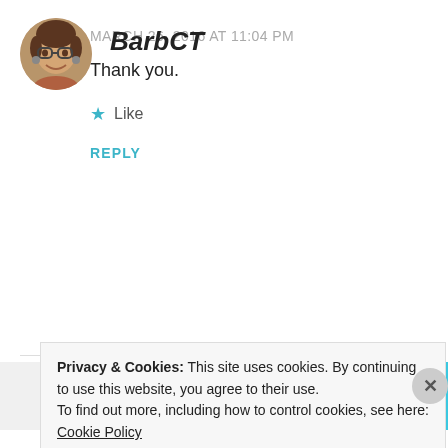BarbCT
MARCH 26, 2016 AT 11:04 PM
Thank you.
★ Like
REPLY
[Figure (screenshot): Partial advertisement banner showing text 'subscriptions online' with a cyan/blue geometric shape and a purple button element]
Privacy & Cookies: This site uses cookies. By continuing to use this website, you agree to their use.
To find out more, including how to control cookies, see here: Cookie Policy
Close and accept